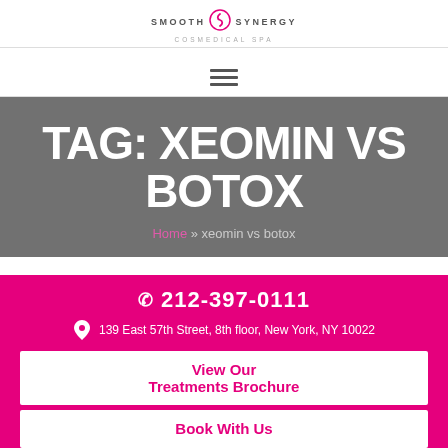SMOOTH SYNERGY COSMEDICAL SPA
[Figure (logo): Smooth Synergy Cosmedical Spa logo with circular icon between the two words]
[Figure (other): Hamburger menu icon with three horizontal lines]
TAG: XEOMIN VS BOTOX
Home » xeomin vs botox
212-397-0111
139 East 57th Street, 8th floor, New York, NY 10022
View Our Treatments Brochure
Book With Us
[Figure (other): Social media icons: Instagram, Facebook, Twitter, Pinterest]